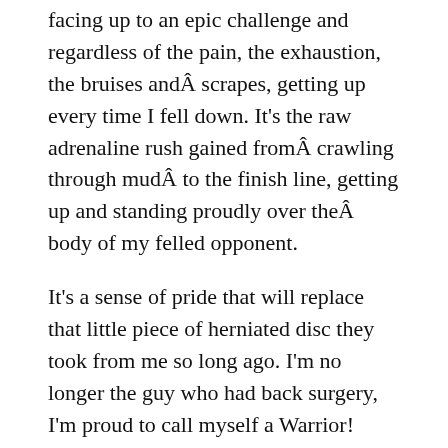facing up to an epic challenge and regardless of the pain, the exhaustion, the bruises andÂ scrapes, getting up every time I fell down. It's the raw adrenaline rush gained fromÂ crawling through mudÂ to the finish line, getting up and standing proudly over theÂ body of my felled opponent.
It's a sense of pride that will replace that little piece of herniated disc they took from me so long ago. I'm no longer the guy who had back surgery, I'm proud to call myself a Warrior!
July 12, 2011 / Crossfit WOD Type Workouts, Injuries / back surgery, Warrior Dash 2011 / Leave a comment